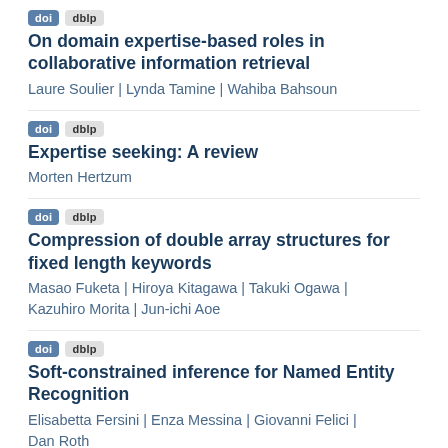doi dblp
On domain expertise-based roles in collaborative information retrieval
Laure Soulier | Lynda Tamine | Wahiba Bahsoun
doi dblp
Expertise seeking: A review
Morten Hertzum
doi dblp
Compression of double array structures for fixed length keywords
Masao Fuketa | Hiroya Kitagawa | Takuki Ogawa | Kazuhiro Morita | Jun-ichi Aoe
doi dblp
Soft-constrained inference for Named Entity Recognition
Elisabetta Fersini | Enza Messina | Giovanni Felici | Dan Roth